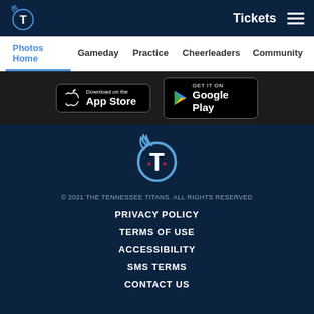Tickets
Photos Home  Gameday  Practice  Cheerleaders  Community
[Figure (screenshot): Download on the App Store button and Get It On Google Play button]
[Figure (logo): Tennessee Titans logo]
© 2021 THE TENNESSEE TITANS. ALL RIGHTS RESERVED
PRIVACY POLICY
TERMS OF USE
ACCESSIBILITY
SMS TERMS
CONTACT US